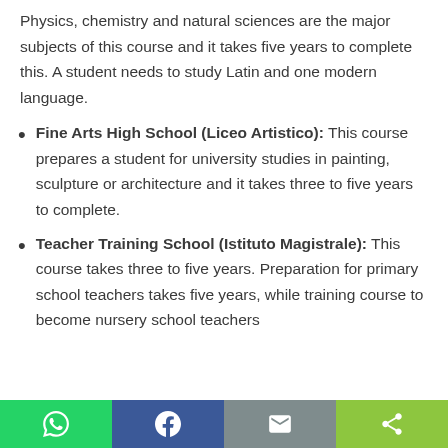Physics, chemistry and natural sciences are the major subjects of this course and it takes five years to complete this. A student needs to study Latin and one modern language.
Fine Arts High School (Liceo Artistico): This course prepares a student for university studies in painting, sculpture or architecture and it takes three to five years to complete.
Teacher Training School (Istituto Magistrale): This course takes three to five years. Preparation for primary school teachers takes five years, while training course to become nursery school teachers
Social share buttons: WhatsApp, Facebook, Email, Share